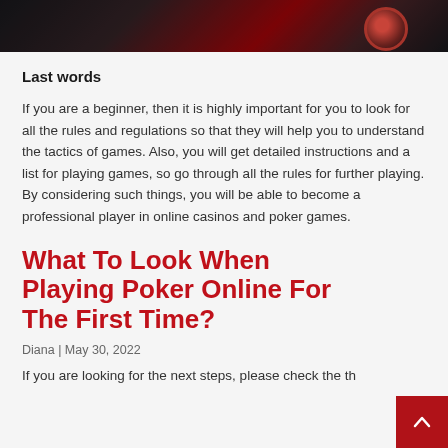[Figure (photo): Dark casino roulette wheel image strip at the top of the page]
Last words
If you are a beginner, then it is highly important for you to look for all the rules and regulations so that they will help you to understand the tactics of games. Also, you will get detailed instructions and a list for playing games, so go through all the rules for further playing. By considering such things, you will be able to become a professional player in online casinos and poker games.
What To Look When Playing Poker Online For The First Time?
Diana | May 30, 2022
If you are looking for the next steps, please check the th...